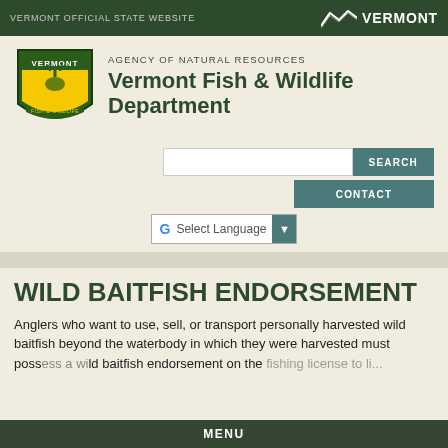VERMONT OFFICIAL STATE WEBSITE
[Figure (logo): Vermont state logo with mountain silhouette and VERMONT text]
[Figure (logo): Vermont Fish & Wildlife Department shield logo]
AGENCY OF NATURAL RESOURCES Vermont Fish & Wildlife Department
SEARCH
CONTACT
Select Language
WILD BAITFISH ENDORSEMENT
Anglers who want to use, sell, or transport personally harvested wild baitfish beyond the waterbody in which they were harvested must poss wild baitfish endorsement on the...
MENU